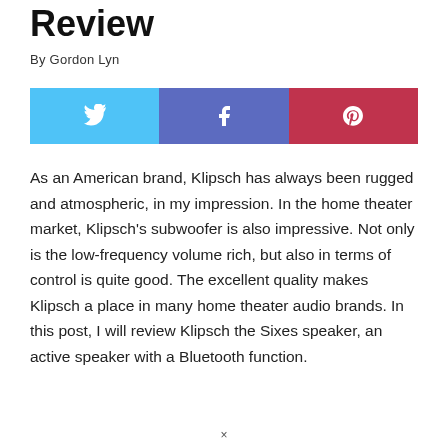Review
By Gordon Lyn
[Figure (infographic): Social share buttons: Twitter (blue), Facebook (indigo), Pinterest (red)]
As an American brand, Klipsch has always been rugged and atmospheric, in my impression. In the home theater market, Klipsch's subwoofer is also impressive. Not only is the low-frequency volume rich, but also in terms of control is quite good. The excellent quality makes Klipsch a place in many home theater audio brands. In this post, I will review Klipsch the Sixes speaker, an active speaker with a Bluetooth function.
×